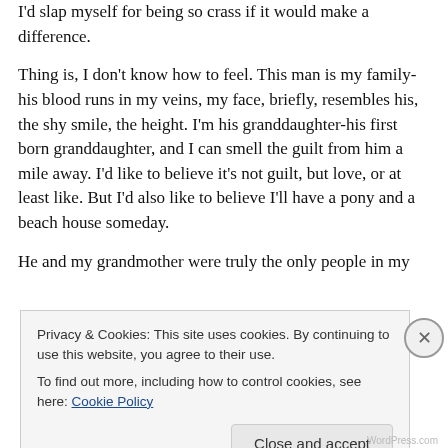I'd slap myself for being so crass if it would make a difference.
Thing is, I don't know how to feel. This man is my family- his blood runs in my veins, my face, briefly, resembles his, the shy smile, the height. I'm his granddaughter-his first born granddaughter, and I can smell the guilt from him a mile away. I'd like to believe it's not guilt, but love, or at least like. But I'd also like to believe I'll have a pony and a beach house someday.
He and my grandmother were truly the only people in my
Privacy & Cookies: This site uses cookies. By continuing to use this website, you agree to their use.
To find out more, including how to control cookies, see here: Cookie Policy
Close and accept
WordPress.com